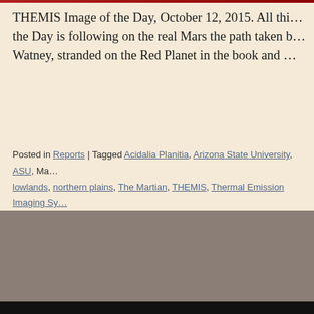THEMIS Image of the Day, October 12, 2015. All this Image of the Day is following on the real Mars the path taken by Mark Watney, stranded on the Red Planet in the book and ...
Posted in Reports | Tagged Acidalia Planitia, Arizona State University, ASU, Ma... lowlands, northern plains, The Martian, THEMIS, Thermal Emission Imaging Sy...
[Figure (photo): A grayish-brown image placeholder, likely a THEMIS thermal infrared image of the Martian surface in the Acidalia Planitia region.]
Red Planet Report